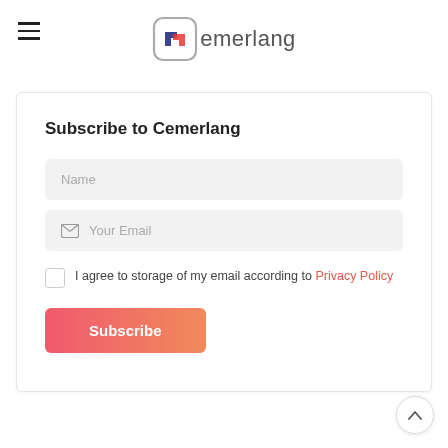[Figure (logo): Cemerlang logo with icon and text]
Subscribe to Cemerlang
Name (input field)
Your Email (input field with envelope icon)
I agree to storage of my email according to Privacy Policy
Subscribe (button)